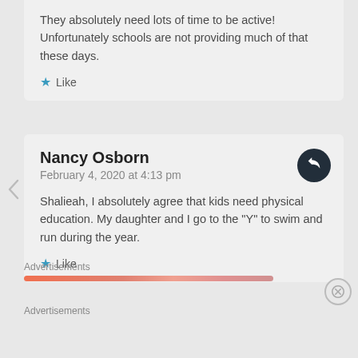They absolutely need lots of time to be active! Unfortunately schools are not providing much of that these days.
Like
Nancy Osborn
February 4, 2020 at 4:13 pm
Shalieah, I absolutely agree that kids need physical education. My daughter and I go to the "Y" to swim and run during the year.
Like
Advertisements
Advertisements